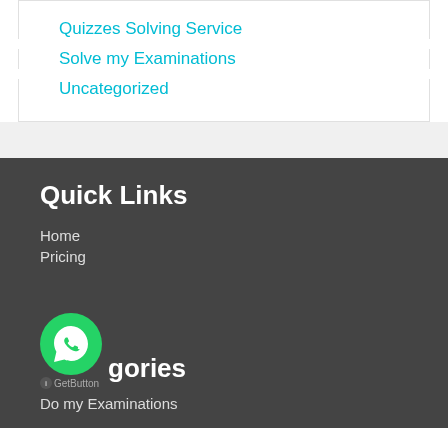Quizzes Solving Service
Solve my Examinations
Uncategorized
Quick Links
Home
Pricing
[Figure (logo): WhatsApp GetButton floating icon with green circular background and white speech bubble logo]
Categories
Do my Examinations